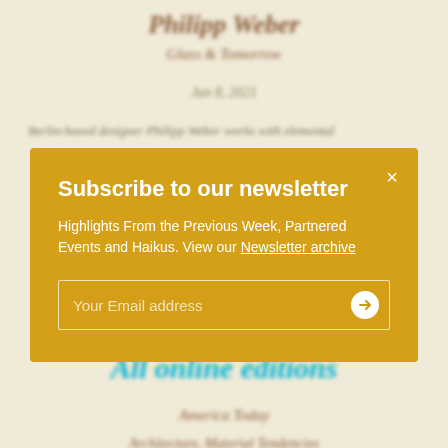Philipp Weber
Glass & Tomorrow
Jun 8, 2021
Berlin-based designer Philipp Weber works with elemental
Subscribe to our newsletter
Highlights From the Previous Week, Partnered Events and Haikus. View our Newsletter archive
Your Email address
All online editions
America Today
Architecture, Material Tendencies
Art & Nature